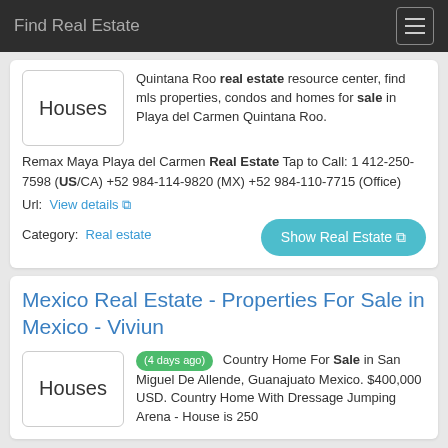Find Real Estate
Quintana Roo real estate resource center, find mls properties, condos and homes for sale in Playa del Carmen Quintana Roo. Remax Maya Playa del Carmen Real Estate Tap to Call: 1 412-250-7598 (US/CA) +52 984-114-9820 (MX) +52 984-110-7715 (Office)
Url: View details
Category: Real estate
Show Real Estate
Mexico Real Estate - Properties For Sale in Mexico - Viviun
(4 days ago) Country Home For Sale in San Miguel De Allende, Guanajuato Mexico. $400,000 USD. Country Home With Dressage Jumping Arena - House is 250